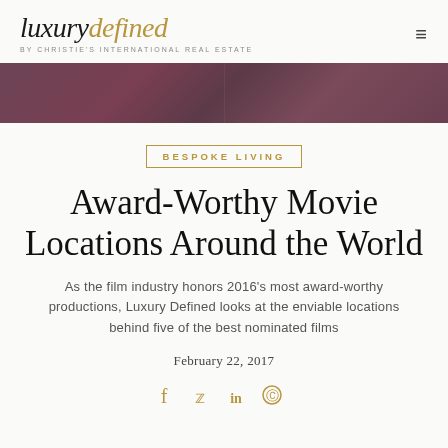luxury defined BY CHRISTIE'S INTERNATIONAL REAL ESTATE
[Figure (photo): Horizontal banner image showing dark reddish-purple wooden or textured surface, split into two panels]
BESPOKE LIVING
Award-Worthy Movie Locations Around the World
As the film industry honors 2016's most award-worthy productions, Luxury Defined looks at the enviable locations behind five of the best nominated films
February 22, 2017
[Figure (infographic): Social media sharing icons: Facebook, Twitter, LinkedIn, Pinterest in gold/amber color]